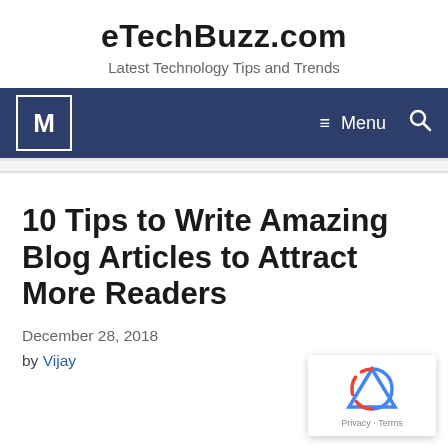eTechBuzz.com
Latest Technology Tips and Trends
10 Tips to Write Amazing Blog Articles to Attract More Readers
December 28, 2018
by Vijay